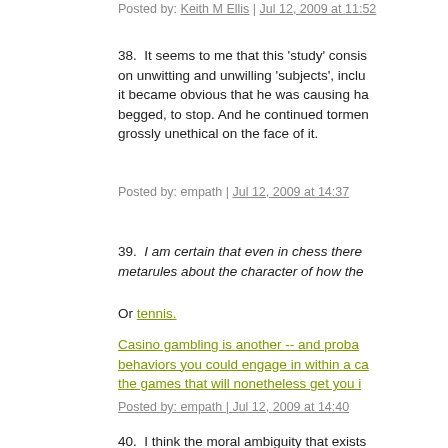Posted by: Keith M Ellis | Jul 12, 2009 at 11:52
38.  It seems to me that this 'study' consists on unwitting and unwilling 'subjects', inclu it became obvious that he was causing ha begged, to stop. And he continued tormen grossly unethical on the face of it.
Posted by: empath | Jul 12, 2009 at 14:37
39.  I am certain that even in chess there metarules about the character of how the
Or tennis.
Casino gambling is another -- and proba behaviors you could engage in within a ca the games that will nonetheless get you i
Posted by: empath | Jul 12, 2009 at 14:40
40.  I think the moral ambiguity that exists prominence here. The final straw in isolat The usage of the PvP zone as a farming c was playing the game, and to cry foul for advanced stage and considerable wealth